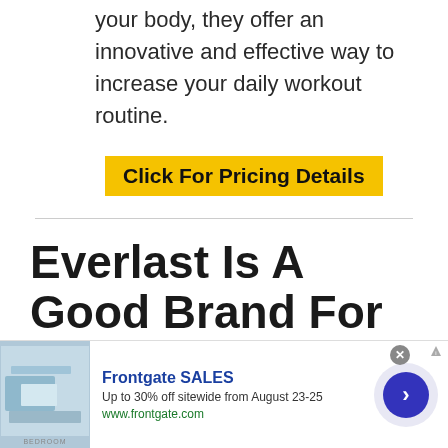your body, they offer an innovative and effective way to increase your daily workout routine.
Click For Pricing Details
Everlast Is A Good Brand For Weighted Jump Ropes
[Figure (other): Advertisement banner for Frontgate SALES: Up to 30% off sitewide from August 23-25. www.frontgate.com. Shows a bedroom image on the left and a blue arrow button on the right.]